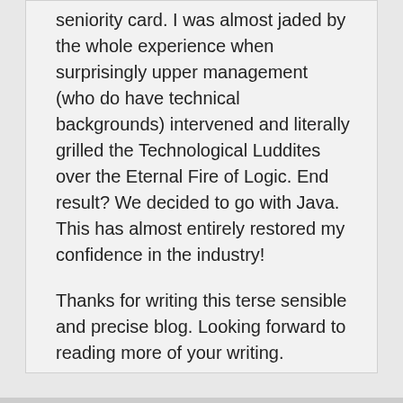seniority card. I was almost jaded by the whole experience when surprisingly upper management (who do have technical backgrounds) intervened and literally grilled the Technological Luddites over the Eternal Fire of Logic. End result? We decided to go with Java. This has almost entirely restored my confidence in the industry!

Thanks for writing this terse sensible and precise blog. Looking forward to reading more of your writing.